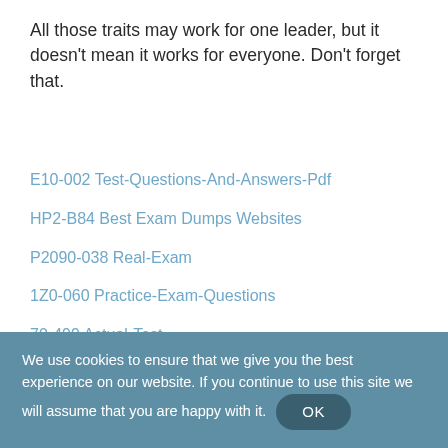All those traits may work for one leader, but it doesn't mean it works for everyone. Don't forget that.
E10-002 Test-Questions-And-Answers-Pdf
HP2-B84 Best Exam Dumps Websites
P2090-038 Real-Exam
1Z0-060 Practice-Exam-Questions
70-499 Actual-Test
E20-594 Test-Exam
We use cookies to ensure that we give you the best experience on our website. If you continue to use this site we will assume that you are happy with it. OK